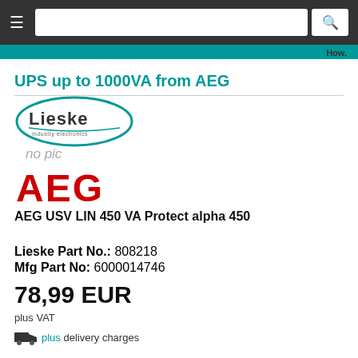≡  [search box]  🔍
How.
UPS up to 1000VA from AEG
[Figure (logo): Lieske Industry Electronics oval logo]
no pic
[Figure (logo): AEG brand name in large red bold text]
AEG USV LIN 450 VA Protect alpha 450
Lieske Part No.: 808218
Mfg Part No: 6000014746
78,99 EUR
plus VAT
plus delivery charges